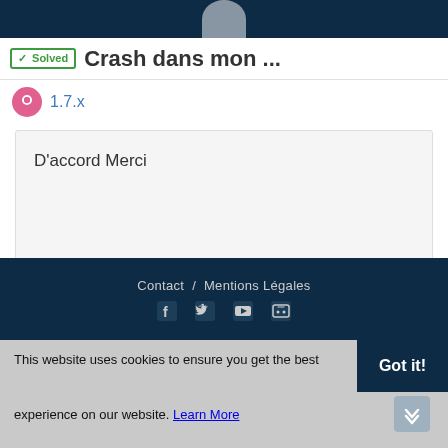Crash dans mon ...
✓ Solved  Crash dans mon ...
1.7.x
Log in to reply
D'accord Merci
0
Contact / Mentions Légales
This website uses cookies to ensure you get the best experience on our website. Learn More